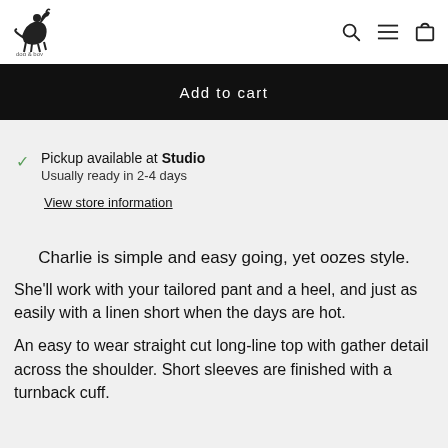[Figure (logo): Dog & Boy brand logo with horse and rider illustration]
Add to cart
Pickup available at Studio
Usually ready in 2-4 days
View store information
Charlie is simple and easy going, yet oozes style.
She'll work with your tailored pant and a heel, and just as easily with a linen short when the days are hot.
An easy to wear straight cut long-line top with gather detail across the shoulder. Short sleeves are finished with a turnback cuff.